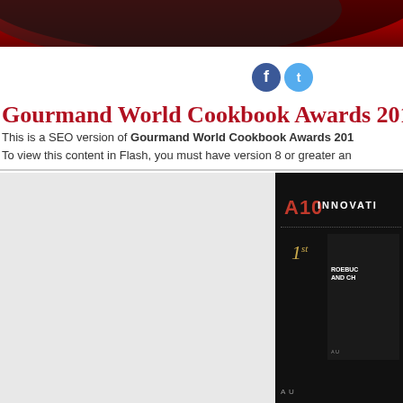[Figure (illustration): Red and dark decorative banner header with wave/swoosh design]
[Figure (illustration): Social media icons: Facebook (dark blue circle with f) and Twitter (light blue circle with bird)]
Gourmand World Cookbook Awards 201
This is a SEO version of Gourmand World Cookbook Awards 201
To view this content in Flash, you must have version 8 or greater an
[Figure (screenshot): Dark panel showing A10 INNOVATION award section with 1st place ranking and book cover showing ROEBUC AND CH text, dark background]